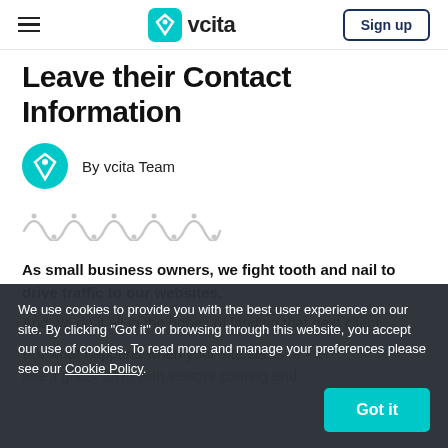vcita — Sign up
Leave their Contact Information
By vcita Team
[Figure (illustration): Decorative wave/squiggle line graphic in light gray]
As small business owners, we fight tooth and nail to drive traffic to our websites.
And we do it all in the hopes of landing that next client.
But what happens when your site starts to feel like a ghost town with visitors coming and
We use cookies to provide you with the best user experience on our site. By clicking "Got it" or browsing through this website, you accept our use of cookies. To read more and manage your preferences please see our Cookie Policy.